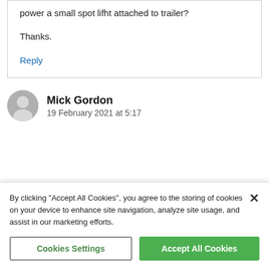power a small spot lifht attached to trailer?

Thanks.
Reply
Mick Gordon
19 February 2021 at 5:17
By clicking "Accept All Cookies", you agree to the storing of cookies on your device to enhance site navigation, analyze site usage, and assist in our marketing efforts.
Cookies Settings
Accept All Cookies